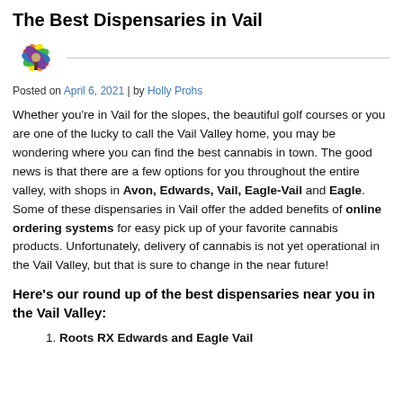The Best Dispensaries in Vail
[Figure (logo): Colorful cannabis leaf logo with rainbow-colored petals (red, orange, yellow, green, blue, purple)]
Posted on April 6, 2021 | by Holly Prohs
Whether you're in Vail for the slopes, the beautiful golf courses or you are one of the lucky to call the Vail Valley home, you may be wondering where you can find the best cannabis in town. The good news is that there are a few options for you throughout the entire valley, with shops in Avon, Edwards, Vail, Eagle-Vail and Eagle. Some of these dispensaries in Vail offer the added benefits of online ordering systems for easy pick up of your favorite cannabis products. Unfortunately, delivery of cannabis is not yet operational in the Vail Valley, but that is sure to change in the near future!
Here's our round up of the best dispensaries near you in the Vail Valley:
Roots RX Edwards and Eagle Vail